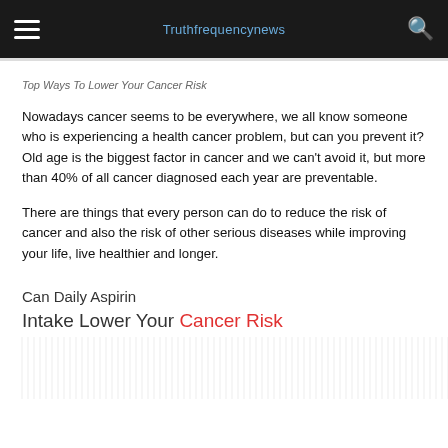Truthfrequencynews
Top Ways To Lower Your Cancer Risk
Nowadays cancer seems to be everywhere, we all know someone who is experiencing a health cancer problem, but can you prevent it? Old age is the biggest factor in cancer and we can't avoid it, but more than 40% of all cancer diagnosed each year are preventable.
There are things that every person can do to reduce the risk of cancer and also the risk of other serious diseases while improving your life, live healthier and longer.
[Figure (infographic): Infographic titled 'Can Daily Aspirin Intake Lower Your Cancer Risk' with colorful circular arcs at the bottom]